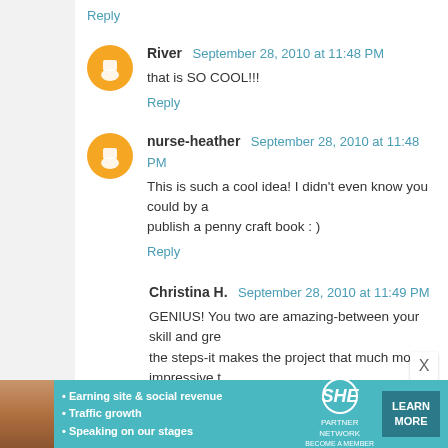Reply
River  September 28, 2010 at 11:48 PM
that is SO COOL!!!
Reply
nurse-heather  September 28, 2010 at 11:48 PM
This is such a cool idea! I didn't even know you could by a... publish a penny craft book : )
Reply
Christina H.  September 28, 2010 at 11:49 PM
GENIUS! You two are amazing-between your skill and gre... the steps-it makes the project that much more impressive t... too, it must weigh a ton! Congrats on the finished project!
Reply
Noo Gavin  September 28, 2010 at 11:49 PM
[Figure (infographic): SHE Partner Network advertisement banner with photo, bullet points: Earning site & social revenue, Traffic growth, Speaking on our stages. SHE logo and LEARN MORE button.]